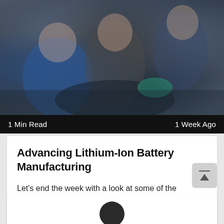[Figure (photo): Photo of mechanics/engineers working together over a vehicle engine, leaning in closely. People wearing blue jacket and grey jacket visible.]
1 Min Read	1 Week Ago
Advancing Lithium-Ion Battery Manufacturing
Let's end the week with a look at some of the technologies that improve lithium-ion battery production. These batteries are widely used in electric
[Figure (photo): Partial view of next article card with a dark device/battery image peeking at the bottom of the page.]